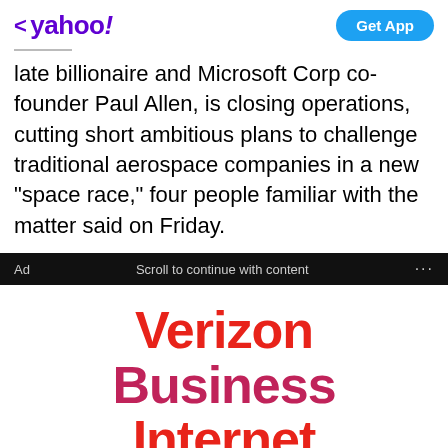< yahoo! | Get App
late billionaire and Microsoft Corp co-founder Paul Allen, is closing operations, cutting short ambitious plans to challenge traditional aerospace companies in a new "space race," four people familiar with the matter said on Friday.
Ad   Scroll to continue with content   ...
[Figure (advertisement): Verizon Business Internet is nationwide advertisement with large bold text in red/crimson/black colors]